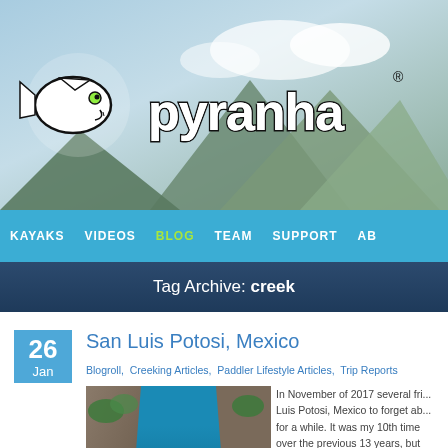[Figure (photo): Pyranha kayak brand header banner with mountain background and Pyranha logo (piranha fish graphic with 'pyranha' text)]
KAYAKS  VIDEOS  BLOG  TEAM  SUPPORT  AB
Tag Archive: creek
26 Jan
San Luis Potosi, Mexico
Blogroll,  Creeking Articles,  Paddler Lifestyle Articles,  Trip Reports
[Figure (photo): Kayaker in red kayak paddling through whitewater rapids in a blue river canyon with rocky walls and vegetation]
In November of 2017 several fri... Luis Potosi, Mexico to forget ab... for a while. It was my 10th time over the previous 13 years, but waterfalls, and awesome food i...